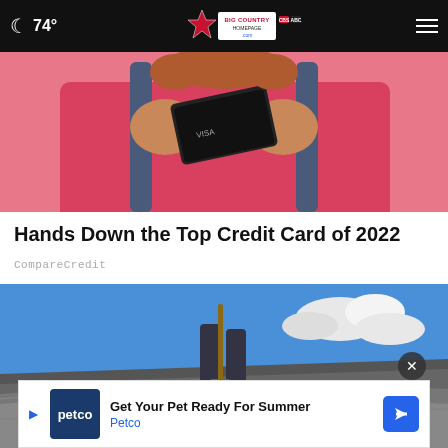74° Big Country Homepage
[Figure (photo): Person in pink shirt and denim overalls holding a credit card up to their face against a pink background]
Hands Down the Top Credit Card of 2022
CompareCredit
[Figure (photo): Person standing on rocky slope with a shovel or tool against a blue sky with clouds]
[Figure (other): Petco advertisement: Get Your Pet Ready For Summer — Petco]